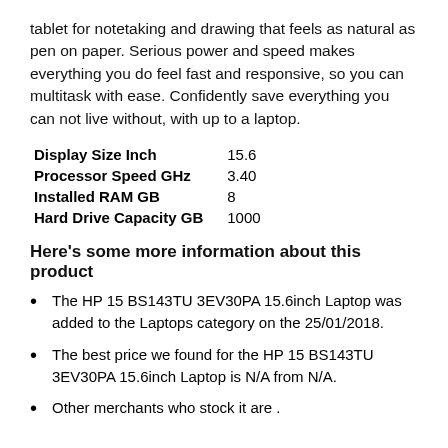tablet for notetaking and drawing that feels as natural as pen on paper. Serious power and speed makes everything you do feel fast and responsive, so you can multitask with ease. Confidently save everything you can not live without, with up to a laptop.
| Spec | Value |
| --- | --- |
| Display Size Inch | 15.6 |
| Processor Speed GHz | 3.40 |
| Installed RAM GB | 8 |
| Hard Drive Capacity GB | 1000 |
Here's some more information about this product
The HP 15 BS143TU 3EV30PA 15.6inch Laptop was added to the Laptops category on the 25/01/2018.
The best price we found for the HP 15 BS143TU 3EV30PA 15.6inch Laptop is N/A from N/A.
Other merchants who stock it are .